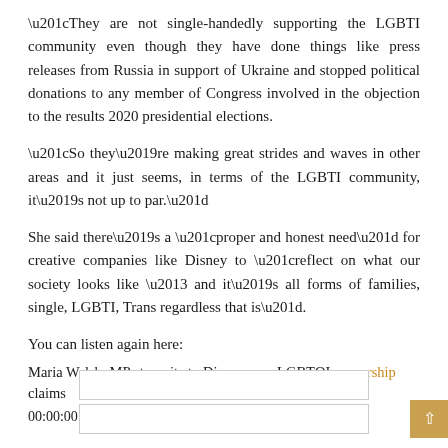“They are not single-handedly supporting the LGBTI community even though they have done things like press releases from Russia in support of Ukraine and stopped political donations to any member of Congress involved in the objection to the results 2020 presidential elections.
“So they’re making great strides and waves in other areas and it just seems, in terms of the LGBTI community, it’s not up to par.”
She said there’s a “proper and honest need” for creative companies like Disney to “reflect on what our society looks like – and it’s all forms of families, single, LGBTI, Trans regardless that is”.
You can listen again here:
Maria Walsh: MPs to write to Disney over LGBTQI censorship claims
00:00:00 / 00:00:00
[Figure (screenshot): Two input/text box UI elements stacked vertically, centered on page, with a gold/amber scroll-to-top button in bottom-right corner.]